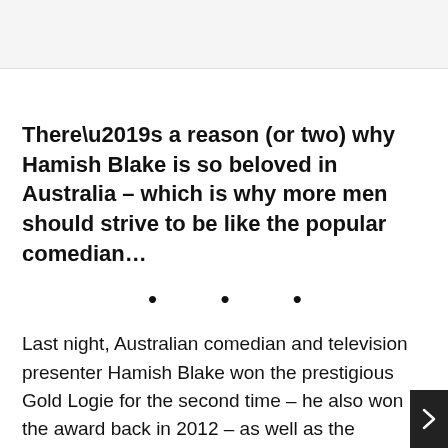There’s a reason (or two) why Hamish Blake is so beloved in Australia – which is why more men should strive to be like the popular comedian…
• • •
Last night, Australian comedian and television presenter Hamish Blake won the prestigious Gold Logie for the second time – he also won the award back in 2012 – as well as the inaugural Logie for Most Popular Presenter (which was introduced this